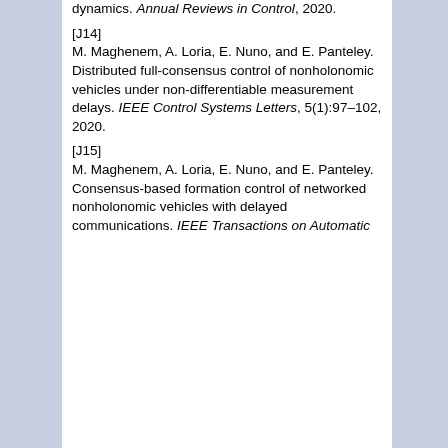dynamics. Annual Reviews in Control, 2020.
[J14] M. Maghenem, A. Loria, E. Nuno, and E. Panteley. Distributed full-consensus control of nonholonomic vehicles under non-differentiable measurement delays. IEEE Control Systems Letters, 5(1):97–102, 2020.
[J15] M. Maghenem, A. Loria, E. Nuno, and E. Panteley. Consensus-based formation control of networked nonholonomic vehicles with delayed communications. IEEE Transactions on Automatic